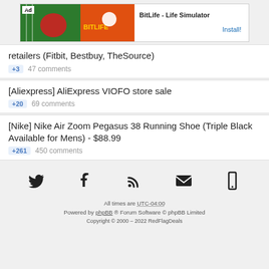[Figure (other): Advertisement banner for BitLife - Life Simulator app with green and orange football-themed graphic on the left and Install button link on right]
retailers (Fitbit, Bestbuy, TheSource)
+3  47 comments
[Aliexpress] AliExpress VIOFO store sale
+20  69 comments
[Nike] Nike Air Zoom Pegasus 38 Running Shoe (Triple Black Available for Mens) - $88.99
+261  450 comments
[Figure (infographic): Social media icons row: Twitter bird, Facebook f, RSS feed, envelope/email, mobile phone]
All times are UTC-04:00
Powered by phpBB ® Forum Software © phpBB Limited
Copyright © 2000 – 2022 RedFlagDeals